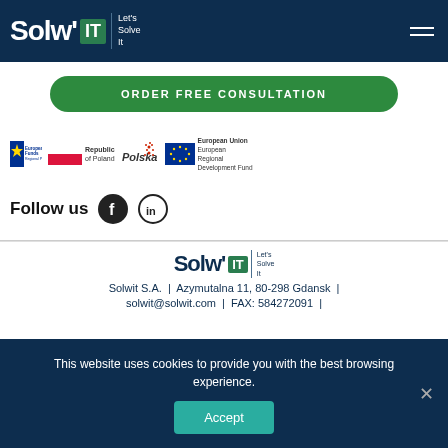Solw'IT | Let's Solve It — navigation header
ORDER FREE CONSULTATION
[Figure (logo): European Funds Regional Programme logo, Republic of Poland flag logo, Polska logo, European Union European Regional Development Fund logo]
Follow us
[Figure (logo): Facebook icon and LinkedIn icon social media buttons]
Solwit S.A. | Azymutalna 11, 80-298 Gdansk | solwit@solwit.com | FAX: 584272091 |
This website uses cookies to provide you with the best browsing experience.